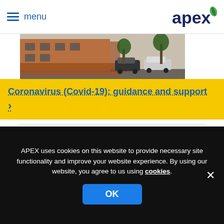menu | apex
[Figure (photo): Exterior photo of a residential building (Killowen House) with cars parked outside on a road, brick walls and fencing visible]
Coronavirus (Covid-19): guidance and support >
Killowen House
APEX uses cookies on this website to provide necessary site functionality and improve your website experience. By using our website, you agree to us using cookies. OK